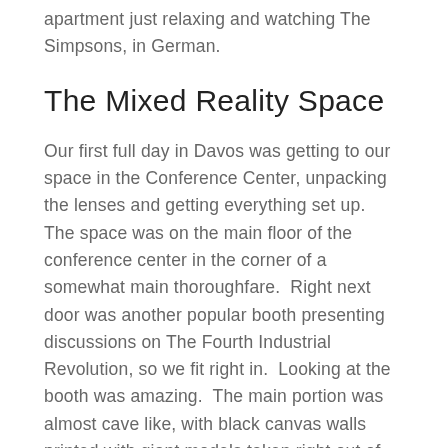apartment just relaxing and watching The Simpsons, in German.
The Mixed Reality Space
Our first full day in Davos was getting to our space in the Conference Center, unpacking the lenses and getting everything set up.  The space was on the main floor of the conference center in the corner of a somewhat main thoroughfare.  Right next door was another popular booth presenting discussions on The Fourth Industrial Revolution, so we fit right in.  Looking at the booth was amazing.  The main portion was almost cave like, with black canvas walls printed with giant models taken right out of the demo.  Circular windows were cut into the wall so that passersby could peek in and see that there was something really cool happening